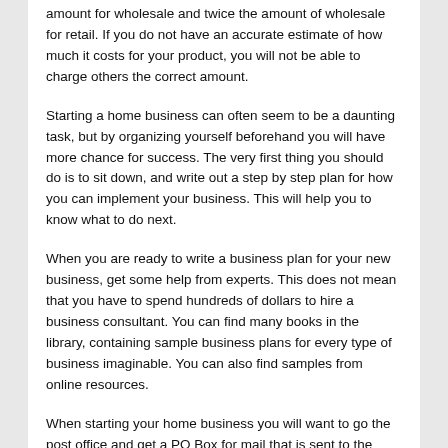amount for wholesale and twice the amount of wholesale for retail. If you do not have an accurate estimate of how much it costs for your product, you will not be able to charge others the correct amount.
Starting a home business can often seem to be a daunting task, but by organizing yourself beforehand you will have more chance for success. The very first thing you should do is to sit down, and write out a step by step plan for how you can implement your business. This will help you to know what to do next.
When you are ready to write a business plan for your new business, get some help from experts. This does not mean that you have to spend hundreds of dollars to hire a business consultant. You can find many books in the library, containing sample business plans for every type of business imaginable. You can also find samples from online resources.
When starting your home business you will want to go the post office and get a PO Box for mail that is sent to the